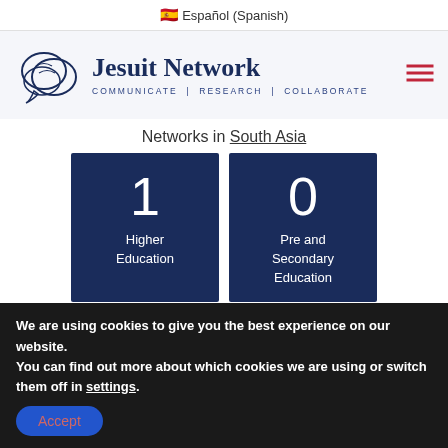🇪🇸 Español (Spanish)
[Figure (logo): Jesuit Network logo with overlapping speech bubble circles and text: COMMUNICATE | RESEARCH | COLLABORATE]
Networks in South Asia
1
Higher Education
0
Pre and Secondary Education
We are using cookies to give you the best experience on our website.
You can find out more about which cookies we are using or switch them off in settings.
Accept